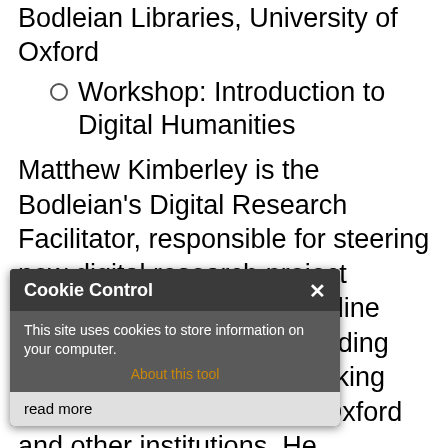Bodleian Libraries, University of Oxford
Workshop: Introduction to Digital Humanities
Matthew Kimberley is the Bodleian's Digital Research Facilitator, responsible for steering new digital research project proposals through the pipeline and identifying suitable funding streams. This involves working with stakeholders across Oxford and other institutions. He previously designed and delivered an innovative four year programme of Outreach and public engagement for Classical Indian Studies on behalf of Bodleian's Special Collections department, targeted at both young people and researchers. His academic background has spanned a wide range of Humanities disciplines at four leading UK universities.
Cookie Control — This site uses cookies to store information on your computer. About this tool — read more